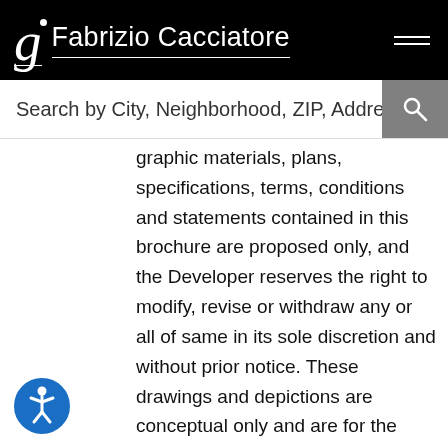Fabrizio Cacciatore
Search by City, Neighborhood, ZIP, Address,
graphic materials, plans, specifications, terms, conditions and statements contained in this brochure are proposed only, and the Developer reserves the right to modify, revise or withdraw any or all of same in its sole discretion and without prior notice. These drawings and depictions are conceptual only and are for the convenience of reference. They should not be relied upon as representations, express or implied, of the final detail of the residences. The developer expressly reserves the right to make modifications, revisions, and changes it deems desirable in its sole and absolute discretion. All